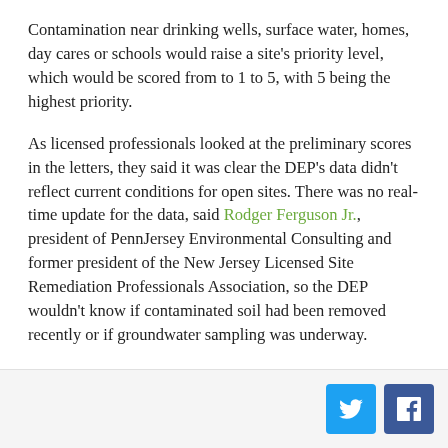Contamination near drinking wells, surface water, homes, day cares or schools would raise a site's priority level, which would be scored from to 1 to 5, with 5 being the highest priority.
As licensed professionals looked at the preliminary scores in the letters, they said it was clear the DEP's data didn't reflect current conditions for open sites. There was no real-time update for the data, said Rodger Ferguson Jr., president of PennJersey Environmental Consulting and former president of the New Jersey Licensed Site Remediation Professionals Association, so the DEP wouldn't know if contaminated soil had been removed recently or if groundwater sampling was underway.
The DEP collected the corrected site data, but it never released final scores. David Restaino, a regulator